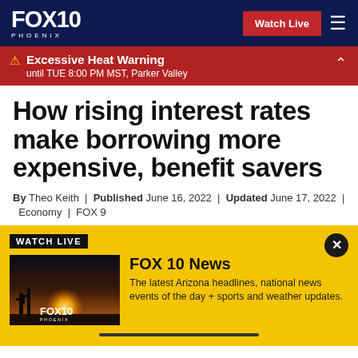FOX 10 PHOENIX | Watch Live
⚠ Excessive Heat Warning until TUE 8:00 PM MST, Parker Valley
How rising interest rates make borrowing more expensive, benefit savers
By Theo Keith | Published June 16, 2022 | Updated June 17, 2022 | Economy | FOX 9
[Figure (screenshot): FOX 10 Watch Live promo panel with thumbnail image and text: FOX 10 News - The latest Arizona headlines, national news events of the day + sports and weather updates.]